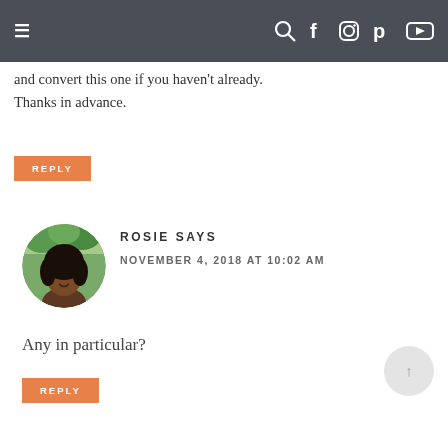≡  🔍 f 📷 p ▶
and convert this one if you haven't already. Thanks in advance.
REPLY
ROSIE SAYS
NOVEMBER 4, 2018 AT 10:02 AM
Any in particular?
REPLY